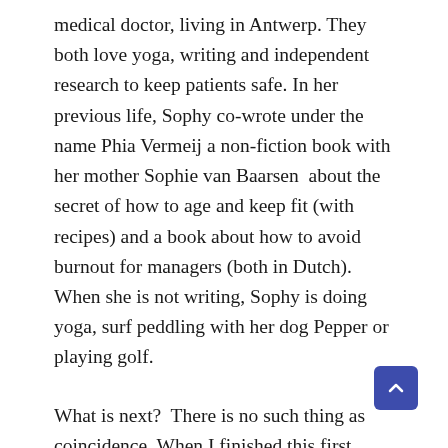medical doctor, living in Antwerp. They both love yoga, writing and independent research to keep patients safe. In her previous life, Sophy co-wrote under the name Phia Vermeij a non-fiction book with her mother Sophie van Baarsen  about the secret of how to age and keep fit (with recipes) and a book about how to avoid burnout for managers (both in Dutch). When she is not writing, Sophy is doing yoga, surf peddling with her dog Pepper or playing golf.
What is next?  There is no such thing as coincidence. When I finished this first book in the Charlie Martens, MD, series, two non-fiction stories surfaced, which gave me the ugly facts for the second book in the series.